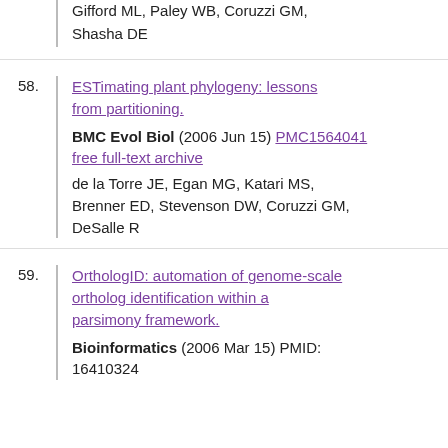Gifford ML, Paley WB, Coruzzi GM, Shasha DE
58. ESTimating plant phylogeny: lessons from partitioning. BMC Evol Biol (2006 Jun 15) PMC1564041 free full-text archive. de la Torre JE, Egan MG, Katari MS, Brenner ED, Stevenson DW, Coruzzi GM, DeSalle R
59. OrthologID: automation of genome-scale ortholog identification within a parsimony framework. Bioinformatics (2006 Mar 15) PMID: 16410324